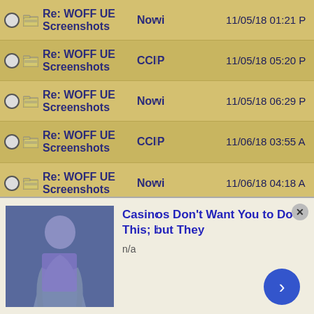Re: WOFF UE Screenshots | Nowi | 11/05/18 01:21 P
Re: WOFF UE Screenshots | CCIP | 11/05/18 05:20 P
Re: WOFF UE Screenshots | Nowi | 11/05/18 06:29 P
Re: WOFF UE Screenshots | CCIP | 11/06/18 03:55 A
Re: WOFF UE Screenshots | Nowi | 11/06/18 04:18 A
Re: WOFF UE Screenshots | CCIP | 11/06/18 08:59 P
Re: WOFF UE Screenshots | Nowi | 11/08/18 09:49 P
Re: WOFF UE Screenshots | jerbear | 11/11/18 12:45 A
Re: WOFF UE Screenshots | Nowi | 11/11/18 03:17 A
Re: WOFF UE Screenshots | Nowi | 11/14/18 03:27 A
Re: WOFF UE Screenshots | Robert_Wiggins | 11/14/18 06:55 P
Re: WOFF UE Screenshots | Nowi | 11/18/18 02:21 A
[Figure (photo): Advertisement: Casinos Don't Want You to Do This; but They - with a woman in a purple outfit image and a blue arrow button]
Casinos Don't Want You to Do This; but They
n/a